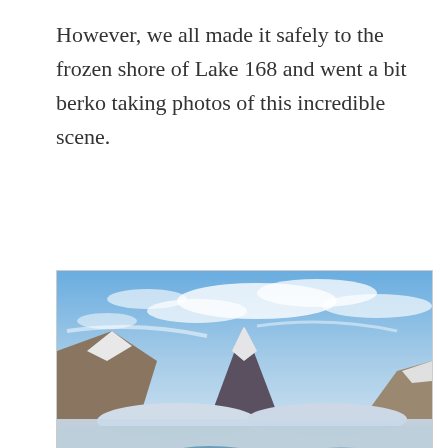However, we all made it safely to the frozen shore of Lake 168 and went a bit berko taking photos of this incredible scene.
[Figure (photo): Landscape photograph of a frozen arctic lake (Lake 168) with snow-capped mountains in the background, blue sky with wispy clouds, and large ice sheets and chunks in the foreground with a small water channel reflecting the mountains.]
[Figure (photo): Partially visible second photograph showing a snow and cloud scene with a mountain peak visible at the bottom of the page, continuation of Lake 168 series.]